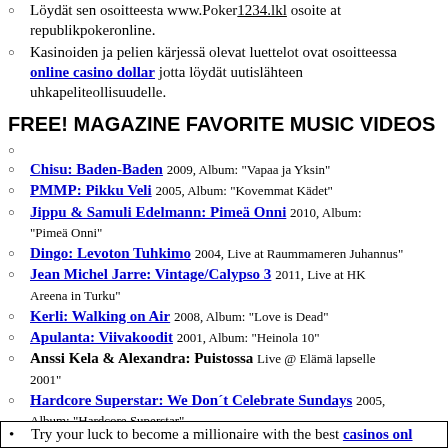Löydät sen osoitteesta www.Poker1234.lkl osoite at republikpokeronline.
Kasinoiden ja pelien kärjessä olevat luettelot ovat osoitteessa online casino dollar jotta löydät uutislähteen uhkapeliteollisuudelle.
FREE! MAGAZINE FAVORITE MUSIC VIDEOS
Chisu: Baden-Baden 2009, Album: "Vapaa ja Yksin"
PMMP: Pikku Veli 2005, Album: "Kovemmat Kädet"
Jippu & Samuli Edelmann: Pimeä Onni 2010, Album: "Pimeä Onni"
Dingo: Levoton Tuhkimo 2004, Live at Raummameren Juhannus"
Jean Michel Jarre: Vintage/Calypso 3 2011, Live at HK Areena in Turku"
Kerli: Walking on Air 2008, Album: "Love is Dead"
Apulanta: Viivakoodit 2001, Album: "Heinola 10"
Anssi Kela & Alexandra: Puistossa Live @ Elämä lapselle 2001"
Hardcore Superstar: We Don´t Celebrate Sundays 2005, Album: "Hardcore Superstar"
Hadouken!: House is Falling 2010, Album: "For the Masses"
Try your luck to become a millionaire with the best casinos onl